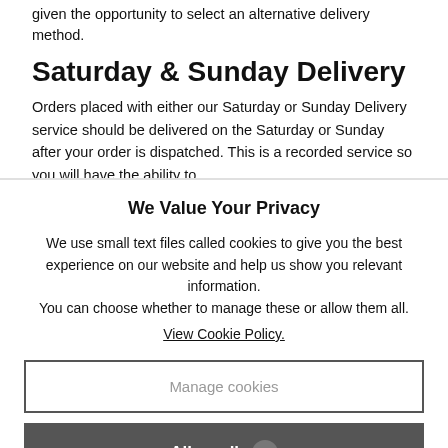given the opportunity to select an alternative delivery method.
Saturday & Sunday Delivery
Orders placed with either our Saturday or Sunday Delivery service should be delivered on the Saturday or Sunday after your order is dispatched. This is a recorded service so you will have the ability to
We Value Your Privacy
We use small text files called cookies to give you the best experience on our website and help us show you relevant information.
You can choose whether to manage these or allow them all.
View Cookie Policy.
Manage cookies
Allow all